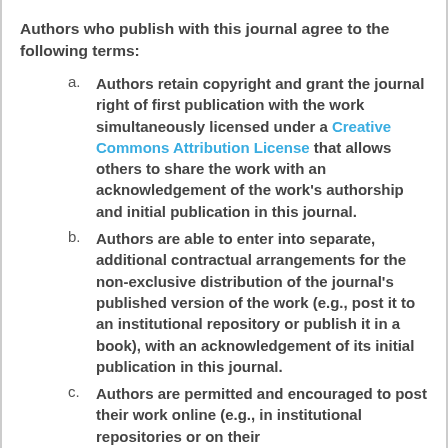Authors who publish with this journal agree to the following terms:
Authors retain copyright and grant the journal right of first publication with the work simultaneously licensed under a Creative Commons Attribution License that allows others to share the work with an acknowledgement of the work's authorship and initial publication in this journal.
Authors are able to enter into separate, additional contractual arrangements for the non-exclusive distribution of the journal's published version of the work (e.g., post it to an institutional repository or publish it in a book), with an acknowledgement of its initial publication in this journal.
Authors are permitted and encouraged to post their work online (e.g., in institutional repositories or on their